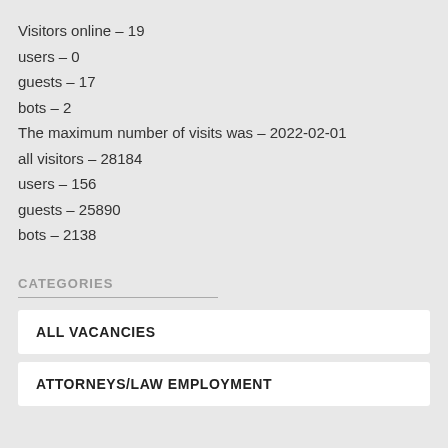Visitors online – 19
users – 0
guests – 17
bots – 2
The maximum number of visits was – 2022-02-01
all visitors – 28184
users – 156
guests – 25890
bots – 2138
CATEGORIES
ALL VACANCIES
ATTORNEYS/LAW EMPLOYMENT